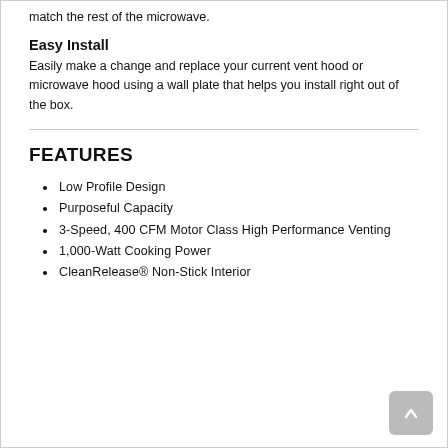match the rest of the microwave.
Easy Install
Easily make a change and replace your current vent hood or microwave hood using a wall plate that helps you install right out of the box.
FEATURES
Low Profile Design
Purposeful Capacity
3-Speed, 400 CFM Motor Class High Performance Venting
1,000-Watt Cooking Power
CleanRelease® Non-Stick Interior